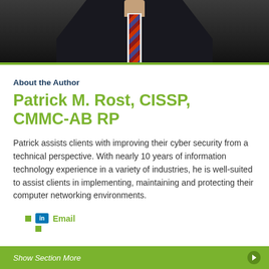[Figure (photo): Professional headshot of Patrick M. Rost wearing a dark suit and patterned tie, upper body visible]
About the Author
Patrick M. Rost, CISSP, CMMC-AB RP
Patrick assists clients with improving their cyber security from a technical perspective. With nearly 10 years of information technology experience in a variety of industries, he is well-suited to assist clients in implementing, maintaining and protecting their computer networking environments.
LinkedIn  Email
Show Section More